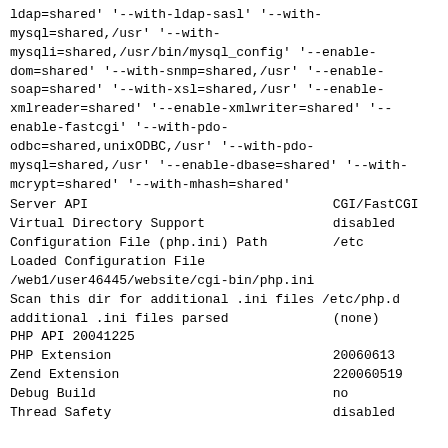ldap=shared' '--with-ldap-sasl' '--with-mysql=shared,/usr' '--with-mysqli=shared,/usr/bin/mysql_config' '--enable-dom=shared' '--with-snmp=shared,/usr' '--enable-soap=shared' '--with-xsl=shared,/usr' '--enable-xmlreader=shared' '--enable-xmlwriter=shared' '--enable-fastcgi' '--with-pdo-odbc=shared,unixODBC,/usr' '--with-pdo-mysql=shared,/usr' '--enable-dbase=shared' '--with-mcrypt=shared' '--with-mhash=shared'
| Server API | CGI/FastCGI |
| Virtual Directory Support | disabled |
| Configuration File (php.ini) Path | /etc |
| Loaded Configuration File | /web1/user46445/website/cgi-bin/php.ini |
| Scan this dir for additional .ini files | /etc/php.d |
| additional .ini files parsed | (none) |
| PHP API | 20041225 |
| PHP Extension | 20060613 |
| Zend Extension | 220060519 |
| Debug Build | no |
| Thread Safety | disabled |